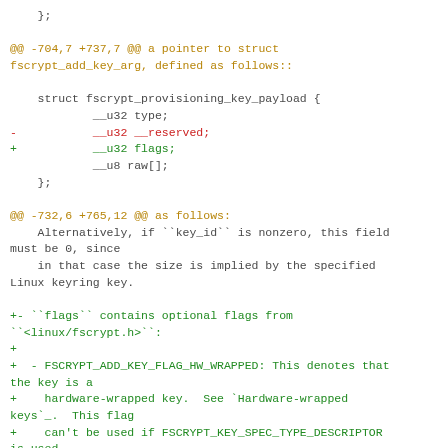};
@@ -704,7 +737,7 @@ a pointer to struct fscrypt_add_key_arg, defined as follows::
struct fscrypt_provisioning_key_payload {
            __u32 type;
-           __u32 __reserved;
+           __u32 flags;
            __u8 raw[];
    };
@@ -732,6 +765,12 @@ as follows:
    Alternatively, if ``key_id`` is nonzero, this field must be 0, since
    in that case the size is implied by the specified Linux keyring key.
+- ``flags`` contains optional flags from ``<linux/fscrypt.h>``:
+
+  - FSCRYPT_ADD_KEY_FLAG_HW_WRAPPED: This denotes that the key is a
+    hardware-wrapped key.  See `Hardware-wrapped keys`_.  This flag
+    can't be used if FSCRYPT_KEY_SPEC_TYPE_DESCRIPTOR is used.
+
-  ``key_id`` is 0 if the raw key is given directly in the ``raw``